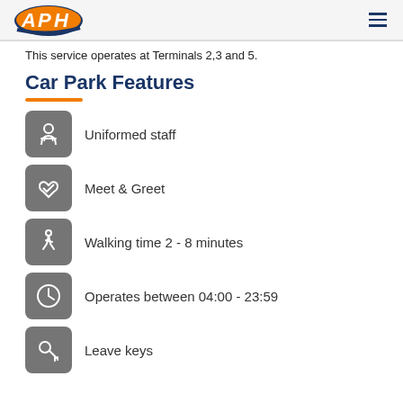APH
This service operates at Terminals 2,3 and 5.
Car Park Features
Uniformed staff
Meet & Greet
Walking time 2 - 8 minutes
Operates between 04:00 - 23:59
Leave keys